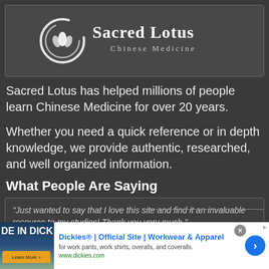[Figure (logo): Sacred Lotus Chinese Medicine logo — circular brush stroke with lotus icon, white text 'Sacred Lotus' and 'Chinese Medicine' on dark grey banner]
Sacred Lotus has helped millions of people learn Chinese Medicine for over 20 years.
Whether you need a quick reference or in depth knowledge, we provide authentic, researched, and well organized information.
What People Are Saying
"Just wanted to say that I love this site and find it an invaluable resource to my studies! Thank you very much."
[Figure (screenshot): Advertisement banner: Dickies workwear ad with image on left, title 'Dickies® | Official Site | Workwear & Apparel', description 'for work pants, work shirts, overalls, and coveralls.', URL 'www.dickies.com', close button and arrow button]